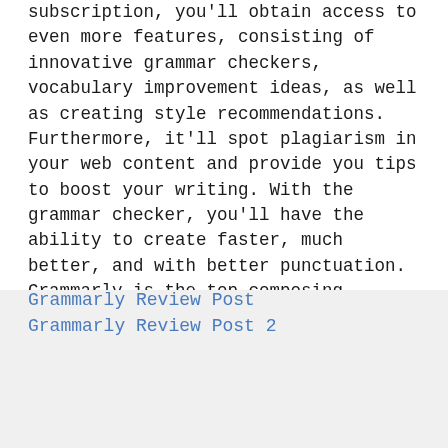subscription, you'll obtain access to even more features, consisting of innovative grammar checkers, vocabulary improvement ideas, as well as creating style recommendations. Furthermore, it'll spot plagiarism in your web content and provide you tips to boost your writing. With the grammar checker, you'll have the ability to create faster, much better, and with better punctuation. Grammarly is the top composing application online, and also it will certainly help you enhance your creating skills and improve your efficiency.
Grammarly Review Post
Grammarly Review Post 2